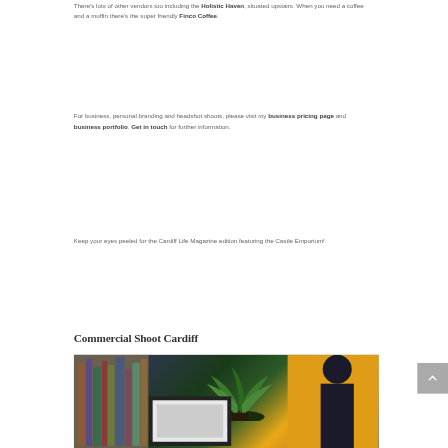There's lots of other vendors too including the Holistic Haven, situated upstairs. When you need a coffee and a muffin there's the super friendly Finco Coffee.
For business, personal branding and headshot shoots, please visit my business pricing page and business portfolio. Get in touch for further information.
Keep your eyes peeled for the Cardiff Life Magazine edition featuring the Castle Emporium!
Commercial Shoot Cardiff
[Figure (photo): A commercial photograph showing a plant with green fronds in a dark pot, placed near a white picture frame and books, with a yellow background visible on the right side.]